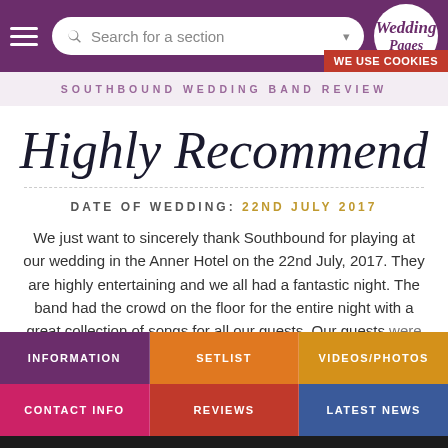Wedding Pages — Search for a section — Navigation header with hamburger menu and logo
WE USE COOKIES
SOUTHBOUND WEDDING BAND REVIEW
Highly Recommend
DATE OF WEDDING: 22ND JULY 2017
We just want to sincerely thank Southbound for playing at our wedding in the Anner Hotel on the 22nd July, 2017. They are highly entertaining and we all had a fantastic night. The band had the crowd on the floor for the entire night with a great collection of songs for all our guests. Our guests were praising you the next morning for
INFORMATION
SETLIST
VIDEOS/PHOTOS
CONTACT INFO
REVIEWS
LATEST NEWS
CHECK DATE / PRICE
FREE & DIRECTLY WITH SOUTHBOUND WEDDING & PARTY BAND